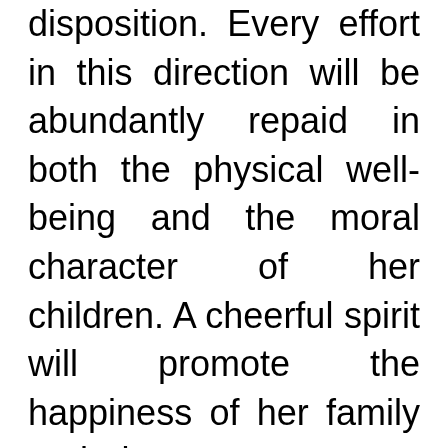disposition. Every effort in this direction will be abundantly repaid in both the physical well-being and the moral character of her children. A cheerful spirit will promote the happiness of her family and in a very great degree improve her own health.

    Let the husband aid his wife by his sympathy and unfailing affection. If he wishes to keep her